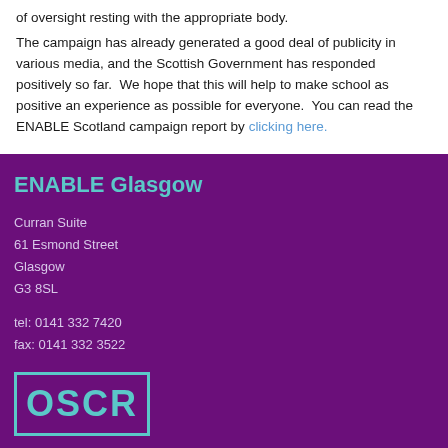of oversight resting with the appropriate body.
The campaign has already generated a good deal of publicity in various media, and the Scottish Government has responded positively so far.  We hope that this will help to make school as positive an experience as possible for everyone.  You can read the ENABLE Scotland campaign report by clicking here.
ENABLE Glasgow
Curran Suite
61 Esmond Street
Glasgow
G3 8SL
tel: 0141 332 7420
fax: 0141 332 3522
[Figure (logo): OSCR logo with teal text on white background inside a teal border frame]